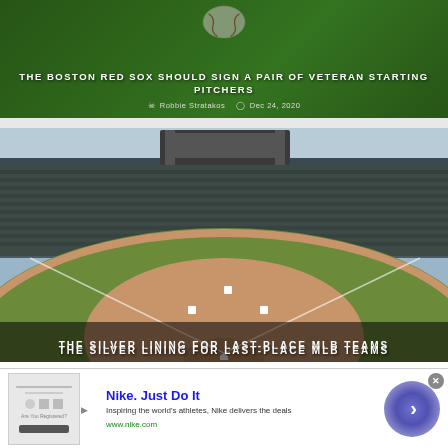[Figure (photo): Baseball resting on green ivy/leaves background with article headline overlay]
THE BOSTON RED SOX SHOULD SIGN A PAIR OF VETERAN STARTING PITCHERS
Robbie Stratakos  Dec 24, 2020
[Figure (photo): Aerial view of a baseball stadium (Citi Field / Mets stadium) with headline overlay at bottom]
THE SILVER LINING FOR LAST-PLACE MLB TEAMS
Nike. Just Do It
Inspiring the world's athletes, Nike delivers the deals
www.nike.com